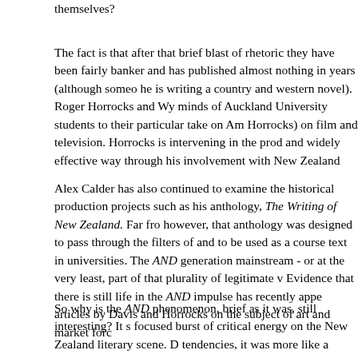themselves?
The fact is that after that brief blast of rhetoric they have been fairly banker and has published almost nothing in years (although someone he is writing a country and western novel). Roger Horrocks and Wys minds of Auckland University students to their particular take on Ame Horrocks) on film and television. Horrocks is intervening in the produ and widely effective way through his involvement with New Zealand
Alex Calder has also continued to examine the historical production projects such as his anthology, The Writing of New Zealand. Far fro however, that anthology was designed to pass through the filters of and to be used as a course text in universities. The AND generation mainstream - or at the very least, part of that plurality of legitimate v Evidence that there is still life in the AND impulse has recently appe articles by Davis and Horrocks on the subject of art and market force
So why is the AND phenomenon, brief as it was, still interesting? It s focused burst of critical energy on the New Zealand literary scene. D tendencies, it was more like a "movement" than anything that has be since. It interests me for its sheer vitality and feistiness, its sense tha